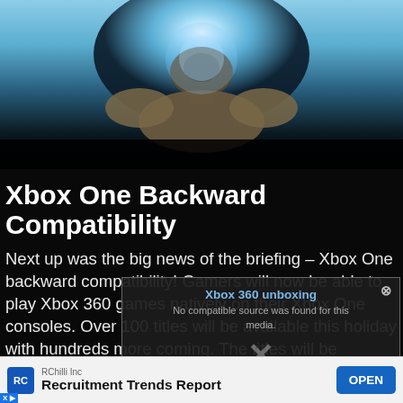[Figure (photo): Hero image showing a game character (armored/robotic figure) with a glowing light source, sci-fi game aesthetic, blue and dark tones. Likely from a Halo game.]
Xbox One Backward Compatibility
Next up was the big news of the briefing – Xbox One backward compatibility! Gamers will now be able to play Xbox 360 games natively on their Xbox One consoles. Over 100 titles will be available this holiday with hundreds more coming. The titles will be available as digital downloads or gamers can just
[Figure (screenshot): Overlapping video popup showing 'Xbox 360 unboxing' title text and 'No compatible source was found for this media.' error message with a close (x) button.]
RChilli Inc
Recruitment Trends Report
OPEN